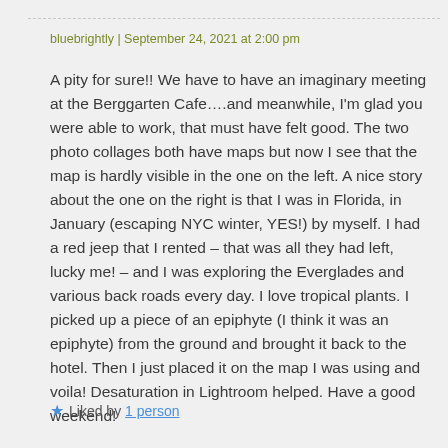bluebrightly | September 24, 2021 at 2:00 pm
A pity for sure!! We have to have an imaginary meeting at the Berggarten Cafe….and meanwhile, I'm glad you were able to work, that must have felt good. The two photo collages both have maps but now I see that the map is hardly visible in the one on the left. A nice story about the one on the right is that I was in Florida, in January (escaping NYC winter, YES!) by myself. I had a red jeep that I rented – that was all they had left, lucky me! – and I was exploring the Everglades and various back roads every day. I love tropical plants. I picked up a piece of an epiphyte (I think it was an epiphyte) from the ground and brought it back to the hotel. Then I just placed it on the map I was using and voila! Desaturation in Lightroom helped. Have a good weekend!
★ Liked by 1 person